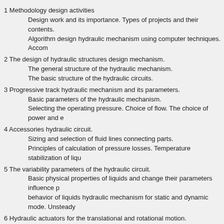1 Methodology design activities
Design work and its importance. Types of projects and their contents.
Algorithm design hydraulic mechanism using computer techniques. Accom
2 The design of hydraulic structures design mechanism.
The general structure of the hydraulic mechanism.
The basic structure of the hydraulic circuits.
3 Progressive track hydraulic mechanism and its parameters.
Basic parameters of the hydraulic mechanism.
Selecting the operating pressure. Choice of flow. The choice of power and e
4 Accessories hydraulic circuit.
Sizing and selection of fluid lines connecting parts.
Principles of calculation of pressure losses. Temperature stabilization of liqu
5 The variability parameters of the hydraulic circuit.
Basic physical properties of liquids and change their parameters influence p behavior of liquids hydraulic mechanism for static and dynamic mode. Unsteady
6 Hydraulic actuators for the translational and rotational motion.
Stiffness and compliance engine, natural frequency motors.
Control of output parameters of the drive. Multi-engine hydraulic actuators.
7 Hydraulic circuit with accumulator.
Structural types of batteries and their basic parameters.
Calculation of the battery for the purpose - the source of pressurized fluid.
Battery-powered linear motors - starting, braking, energy storage.
8 circuits with built-in hydraulic valves.
Structural design and built-in valves management.
Hydraulic circuits with built-in valves. Emulsion and water hydraulics.